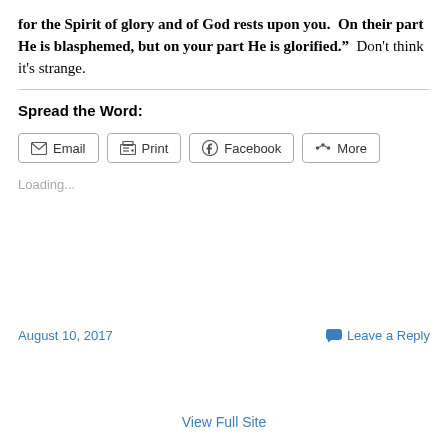for the Spirit of glory and of God rests upon you.  On their part He is blasphemed, but on your part He is glorified."  Don't think it's strange.
Spread the Word:
[Figure (other): Share buttons row: Email, Print, Facebook, More]
Loading...
August 10, 2017
Leave a Reply
View Full Site